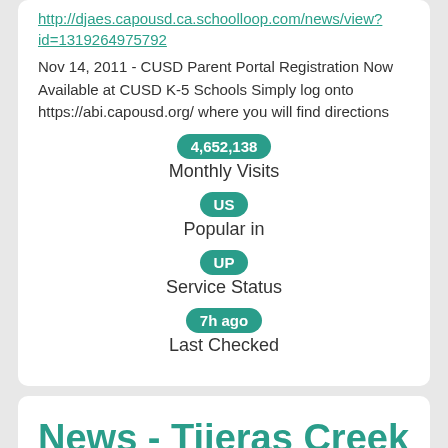http://djaes.capousd.ca.schoolloop.com/news/view?id=1319264975792
Nov 14, 2011 - CUSD Parent Portal Registration Now Available at CUSD K-5 Schools Simply log onto https://abi.capousd.org/ where you will find directions
[Figure (infographic): Website statistics panel showing: 4,652,138 Monthly Visits, US Popular in, UP Service Status, 7h ago Last Checked]
News - Tijeras Creek